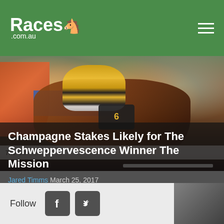Races .com.au
[Figure (photo): Horse racing photo showing a jockey in yellow and black silks riding horse number 6 at full gallop, with orange crowd visible on left, blue advertising board, and white railing at bottom right. Advertising text partially visible reading 'The Ult...ate Dr...']
Champagne Stakes Likely for The Schweppervescence Winner The Mission
Jared Timms March 25, 2017
Follow